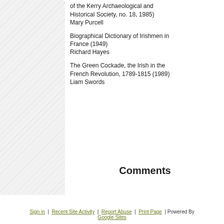of the Kerry Archaeological and Historical Society, no. 18, 1985)
Mary Purcell
Biographical Dictionary of Irishmen in France (1949)
Richard Hayes
The Green Cockade, the Irish in the French Revolution, 1789-1815 (1989)
Liam Swords
Comments
Sign in | Recent Site Activity | Report Abuse | Print Page | Powered By Google Sites